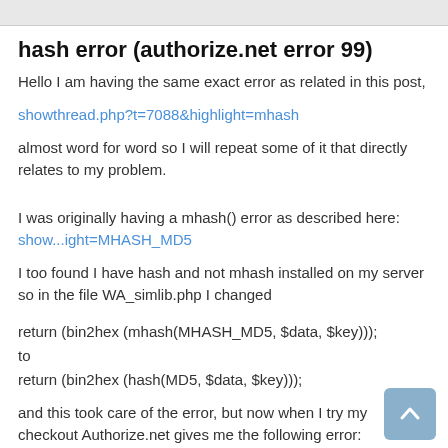myhashsecret
hash error (authorize.net error 99)
Hello I am having the same exact error as related in this post,
showthread.php?t=7088&highlight=mhash
almost word for word so I will repeat some of it that directly relates to my problem.
I was originally having a mhash() error as described here: show...ight=MHASH_MD5
I too found I have hash and not mhash installed on my server so in the file WA_simlib.php I changed
return (bin2hex (mhash(MHASH_MD5, $data, $key)));
to
return (bin2hex (hash(MD5, $data, $key)));
and this took care of the error, but now when I try my checkout Authorize.net gives me the following error: